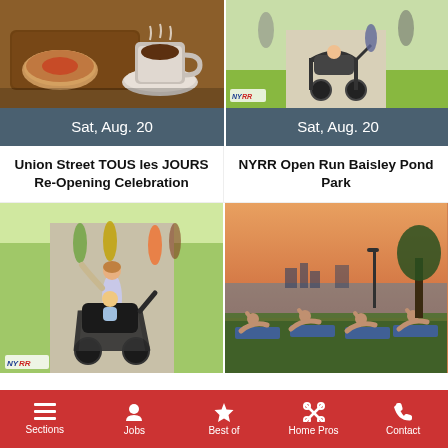[Figure (photo): Food photo: coffee cup with saucer and bread/pastry on wooden board]
[Figure (photo): NYRR running event photo: person pushing jogging stroller on path]
Sat, Aug. 20
Sat, Aug. 20
Union Street TOUS les JOURS Re-Opening Celebration
NYRR Open Run Baisley Pond Park
[Figure (photo): NYRR running event: group of runners with woman pushing jogging stroller in foreground, NYRR logo bottom left]
[Figure (photo): Outdoor yoga class at sunset near waterfront, people on mats in side plank poses]
Sections  Jobs  Best of  Home Pros  Contact